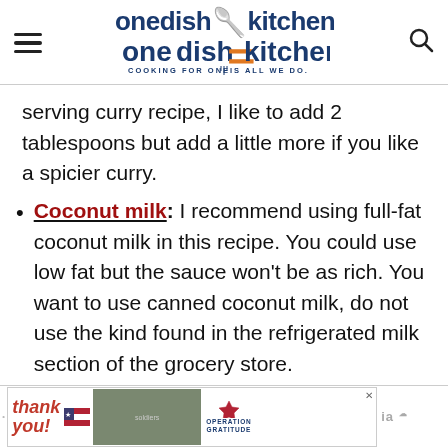[Figure (logo): One Dish Kitchen logo with hamburger menu and search icon in header]
serving curry recipe, I like to add 2 tablespoons but add a little more if you like a spicier curry.
Coconut milk: I recommend using full-fat coconut milk in this recipe. You could use low fat but the sauce won't be as rich. You want to use canned coconut milk, do not use the kind found in the refrigerated milk section of the grocery store
[Figure (screenshot): Advertisement banner: Thank you with American flag and Operation Gratitude]